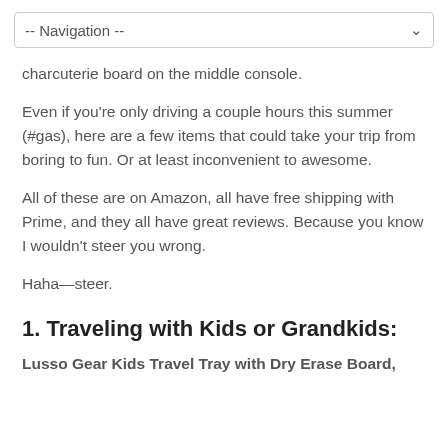-- Navigation --
charcuterie board on the middle console.
Even if you're only driving a couple hours this summer (#gas), here are a few items that could take your trip from boring to fun. Or at least inconvenient to awesome.
All of these are on Amazon, all have free shipping with Prime, and they all have great reviews. Because you know I wouldn't steer you wrong.
Haha—steer.
1. Traveling with Kids or Grandkids:
Lusso Gear Kids Travel Tray with Dry Erase Board,